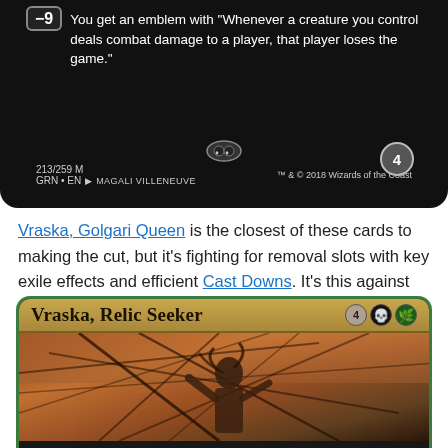[Figure (photo): Bottom portion of a Magic: The Gathering card — Vraska, Golgari Queen. Shows the -9 loyalty ability text: 'You get an emblem with Whenever a creature you control deals combat damage to a player, that player loses the game.' Card number 213/259 M, GRN EN, art by Magali Villeneuve, TM & C 2018 Wizards of the Coast. Loyalty counter showing 4.]
Vraska, Golgari Queen is the closest of these cards to making the cut, but it's fighting for removal slots with key exile effects and efficient Cast Downs. It's this against the third Hostage Taker or Assassin's Trophy right now, and I like broader coverage over a fairly low-impact planeswalker.
[Figure (photo): Top portion of a Magic: The Gathering card — Vraska, Relic Seeker. Shows card name, mana cost (4 plus black and green symbols), and card art depicting a figure among ship rigging/ropes in warm orange/brown tones.]